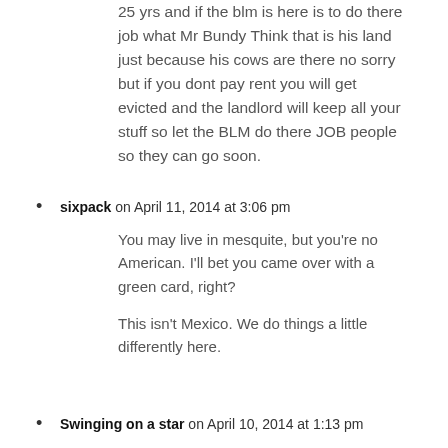25 yrs and if the blm is here is to do there job what Mr Bundy Think that is his land just because his cows are there no sorry but if you dont pay rent you will get evicted and the landlord will keep all your stuff so let the BLM do there JOB people so they can go soon.
sixpack on April 11, 2014 at 3:06 pm
You may live in mesquite, but you're no American. I'll bet you came over with a green card, right?

This isn't Mexico. We do things a little differently here.
Swinging on a star on April 10, 2014 at 1:13 pm